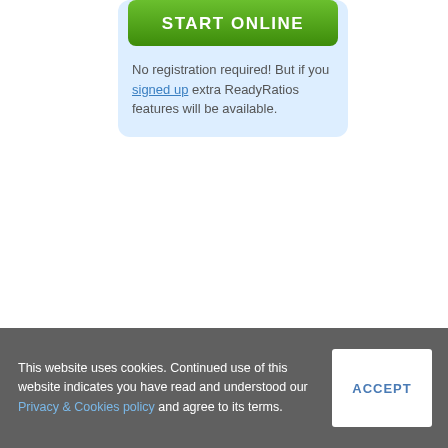[Figure (other): Green START ONLINE button inside a light blue rounded card]
No registration required! But if you signed up extra ReadyRatios features will be available.
This website uses cookies. Continued use of this website indicates you have read and understood our Privacy & Cookies policy and agree to its terms.